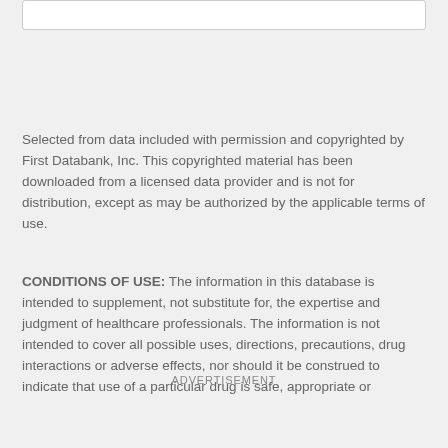Selected from data included with permission and copyrighted by First Databank, Inc. This copyrighted material has been downloaded from a licensed data provider and is not for distribution, except as may be authorized by the applicable terms of use.
CONDITIONS OF USE: The information in this database is intended to supplement, not substitute for, the expertise and judgment of healthcare professionals. The information is not intended to cover all possible uses, directions, precautions, drug interactions or adverse effects, nor should it be construed to indicate that use of a particular drug is safe, appropriate or
ADVERTISEMENT